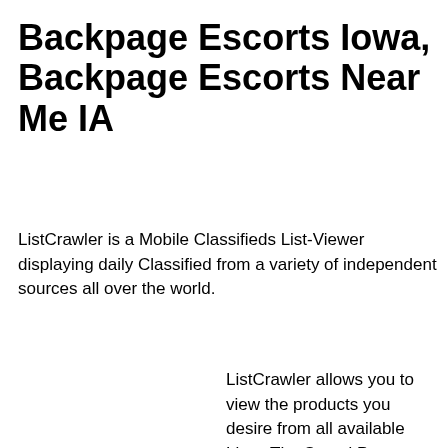Backpage Escorts Iowa, Backpage Escorts Near Me IA
ListCrawler is a Mobile Classifieds List-Viewer displaying daily Classified from a variety of independent sources all over the world.
ListCrawler allows you to view the products you desire from all available Lists. The Saved Posts are never stored on your deviceand do not leave any trace - yet you can instantly and securely access